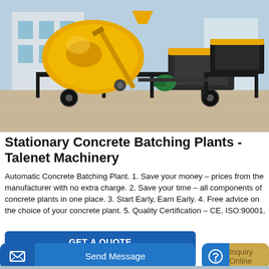[Figure (photo): Yellow stationary concrete batching plant / concrete mixer machine on a construction site, with a building visible in the background.]
Stationary Concrete Batching Plants - Talenet Machinery
Automatic Concrete Batching Plant. 1. Save your money – prices from the manufacturer with no extra charge. 2. Save your time – all components of concrete plants in one place. 3. Start Early, Earn Early. 4. Free advice on the choice of your concrete plant. 5. Quality Certification – CE, ISO:90001.